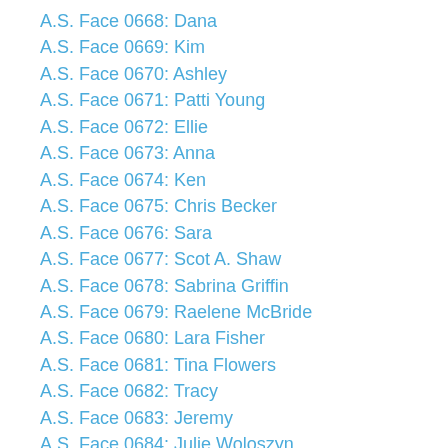A.S. Face 0668: Dana
A.S. Face 0669: Kim
A.S. Face 0670: Ashley
A.S. Face 0671: Patti Young
A.S. Face 0672: Ellie
A.S. Face 0673: Anna
A.S. Face 0674: Ken
A.S. Face 0675: Chris Becker
A.S. Face 0676: Sara
A.S. Face 0677: Scot A. Shaw
A.S. Face 0678: Sabrina Griffin
A.S. Face 0679: Raelene McBride
A.S. Face 0680: Lara Fisher
A.S. Face 0681: Tina Flowers
A.S. Face 0682: Tracy
A.S. Face 0683: Jeremy
A.S. Face 0684: Julie Woloszyn
A.S. Face 0685: JoAnn Celesk
A.S. Face 0686: Joel Johnson
A.S. Face 0687: Becky Berry